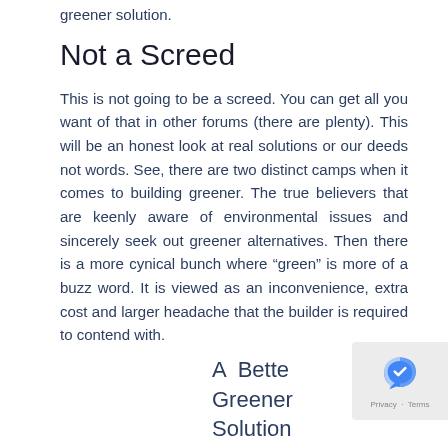greener solution.
Not a Screed
This is not going to be a screed. You can get all you want of that in other forums (there are plenty). This will be an honest look at real solutions or our deeds not words. See, there are two distinct camps when it comes to building greener. The true believers that are keenly aware of environmental issues and sincerely seek out greener alternatives. Then there is a more cynical bunch where “green” is more of a buzz word. It is viewed as an inconvenience, extra cost and larger headache that the builder is required to contend with.
A Better Greener Solution